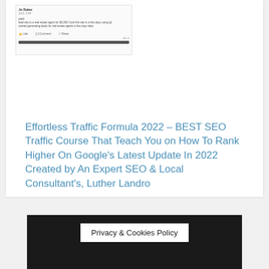[Figure (screenshot): Screenshot of a social media post by 'Jo Baker' with text about selling a lead site to a real estate agent for $5,000, built in a few days using [a tool], and started generating leads for real estate agents a few days later. Shows Like, Comment, Share buttons and a progress bar.]
Effortless Traffic Formula 2022 – BEST SEO Traffic Course That Teach You on How To Rank Higher On Google's Latest Update In 2022 Created by An Expert SEO & Local Consultant's, Luther Landro
Privacy & Cookies Policy